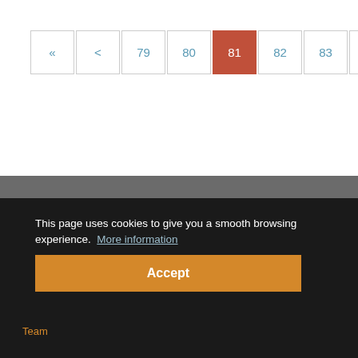Pagination: « < 79 80 81 82 83 > »
English ▾
This page uses cookies to give you a smooth browsing experience. More information
Team
Accept
Support us
Data protection